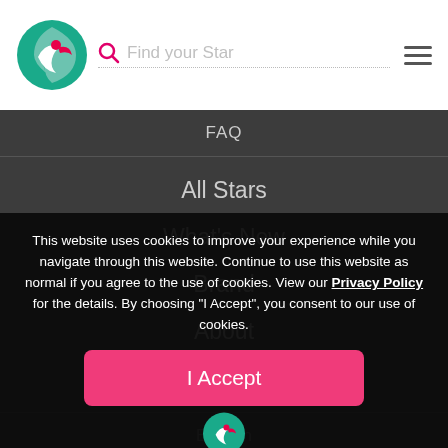Find your Star
FAQ
All Stars
What's New
Brand
About
Contact Us
English
This website uses cookies to improve your experience while you navigate through this website. Continue to use this website as normal if you agree to the use of cookies. View our Privacy Policy for the details. By choosing "I Accept", you consent to our use of cookies.
I Accept